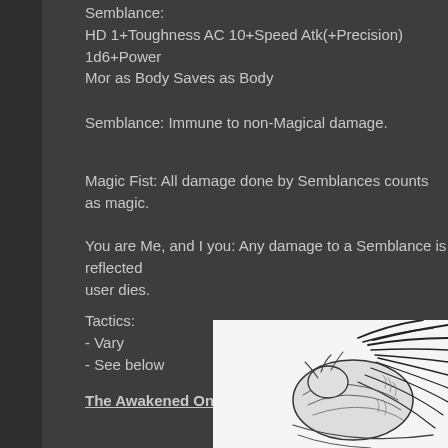Semblance:
HD 1+Toughness AC 10+Speed Atk(+Precision) 1d6+Power Mor as Body Saves as Body
Semblance: Immune to non-Magical damage.
Magic Fist: All damage done by Semblances counts as magic.
You are Me, and I you: Any damage to a Semblance is reflected... user dies.
Tactics:
- Vary
- See below
The Awakened Ones
[Figure (illustration): Black and white illustration of a creature or figure with flowing, spiky hair/feathers rendered in ink line art style]